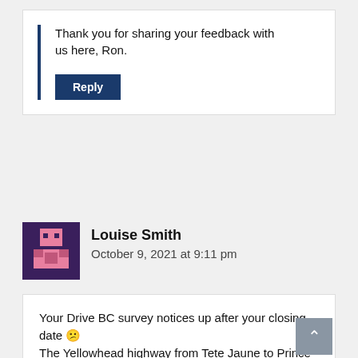Thank you for sharing your feedback with us here, Ron.
Reply
Louise Smith
October 9, 2021 at 9:11 pm
Your Drive BC survey notices up after your closing date 😶
The Yellowhead highway from Tete Jaune to Prince George have LOTS of great rest areas – wish the rest of the province did